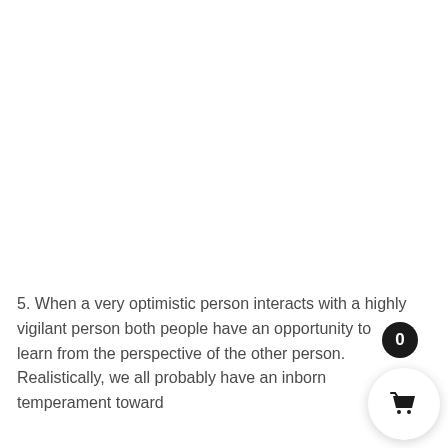5. When a very optimistic person interacts with a highly vigilant person both people have an opportunity to learn from the perspective of the other person.  Realistically, we all probably have an inborn temperament toward